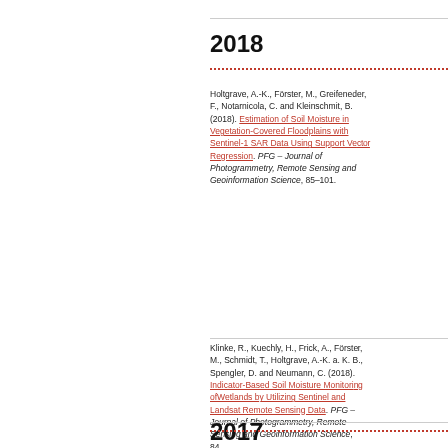2018
Holtgrave, A.-K., Förster, M., Greifeneder, F., Notarnicola, C. and Kleinschmit, B. (2018). Estimation of Soil Moisture in Vegetation-Covered Floodplains with Sentinel-1 SAR Data Using Support Vector Regression. PFG – Journal of Photogrammetry, Remote Sensing and Geoinformation Science, 85–101.
Klinke, R., Kuechly, H., Frick, A., Förster, M., Schmidt, T., Holtgrave, A.-K. a. K. B., Spengler, D. and Neumann, C. (2018). Indicator-Based Soil Moisture Monitoring ofWetlands by Utilizing Sentinel and Landsat Remote Sensing Data. PFG – Journal of Photogrammetry, Remote Sensing and Geoinformation Science, 84.
2017